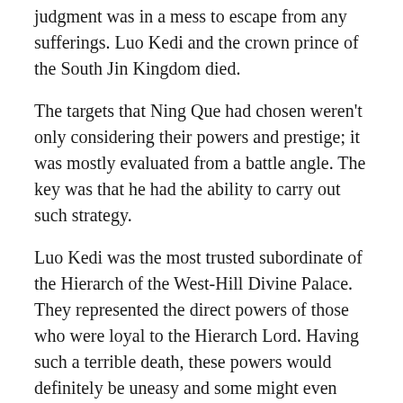judgment was in a mess to escape from any sufferings. Luo Kedi and the crown prince of the South Jin Kingdom died.
The targets that Ning Que had chosen weren't only considering their powers and prestige; it was mostly evaluated from a battle angle. The key was that he had the ability to carry out such strategy.
Luo Kedi was the most trusted subordinate of the Hierarch of the West-Hill Divine Palace. They represented the direct powers of those who were loyal to the Hierarch Lord. Having such a terrible death, these powers would definitely be uneasy and some might even have other ideas.
The South Jin Kingdom's army was one of the main forces of the West-Hill Divine Palace coalition army and had always stayed beside the Hierarch's chariot. The death of the South Jin Crown Prince would definitely bring about chaos to the South Jin Kingdom Army, because of the enormous psychological impact on the